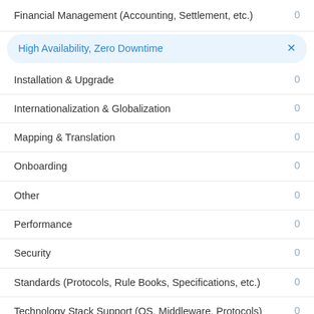Financial Management (Accounting, Settlement, etc.)  0
High Availability, Zero Downtime  ×
Installation & Upgrade  0
Internationalization & Globalization  0
Mapping & Translation  0
Onboarding  0
Other  0
Performance  0
Security  0
Standards (Protocols, Rule Books, Specifications, etc.)  0
Technology Stack Support (OS, Middleware, Protocols)  0
Transaction Processing - Distribution  0